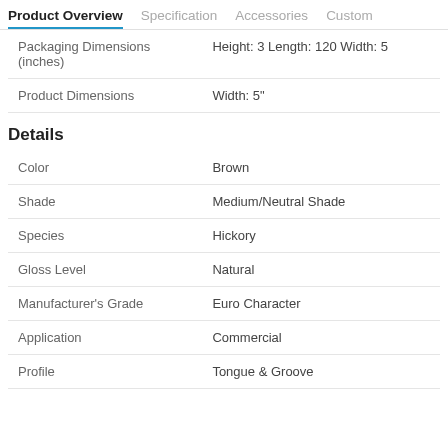Product Overview  Specification  Accessories  Custom
|  |  |
| --- | --- |
| Packaging Dimensions (inches) | Height: 3 Length: 120 Width: 5 |
| Product Dimensions | Width: 5" |
Details
|  |  |
| --- | --- |
| Color | Brown |
| Shade | Medium/Neutral Shade |
| Species | Hickory |
| Gloss Level | Natural |
| Manufacturer's Grade | Euro Character |
| Application | Commercial |
| Profile | Tongue & Groove |